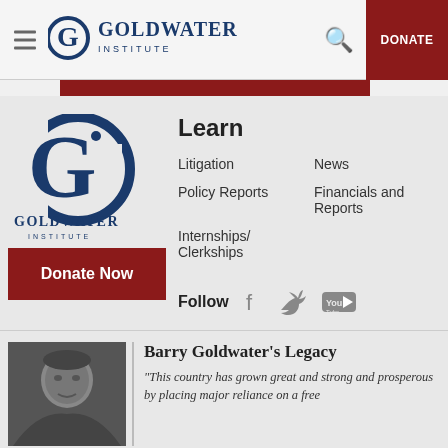Goldwater Institute — DONATE
[Figure (logo): Goldwater Institute logo with hamburger menu, search icon, and DONATE button]
[Figure (logo): Goldwater Institute G logo footer]
Donate Now
Learn
Litigation
News
Policy Reports
Financials and Reports
Internships/
Clerkships
Follow
[Figure (logo): Social media icons: Facebook, Twitter, YouTube]
Barry Goldwater's Legacy
“This country has grown great and strong and prosperous by placing major reliance on a free